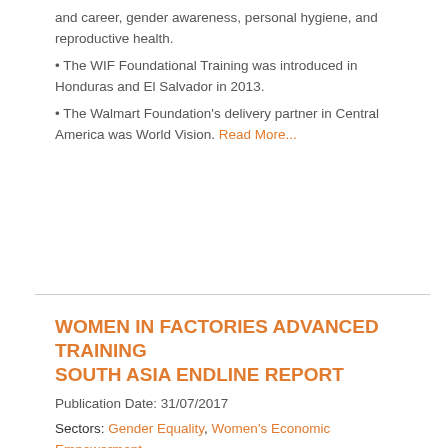and career, gender awareness, personal hygiene, and reproductive health.
• The WIF Foundational Training was introduced in Honduras and El Salvador in 2013.
• The Walmart Foundation's delivery partner in Central America was World Vision. Read More...
WOMEN IN FACTORIES ADVANCED TRAINING SOUTH ASIA ENDLINE REPORT
Publication Date: 31/07/2017
Sectors: Gender Equality, Women's Economic Empowerment
Country: Bangladesh, India
Evaluation Type: Endline Report
Keywords: Female work performance, women's leadership